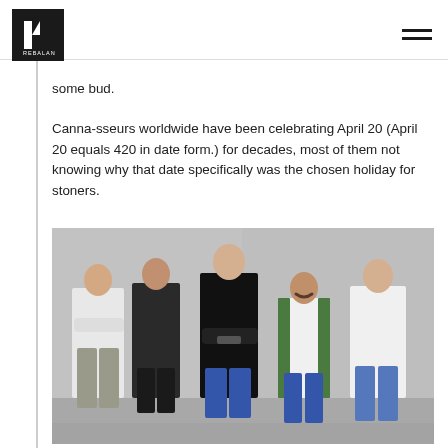REBALAN (logo) [hamburger menu]
some bud.
Canna-sseurs worldwide have been celebrating April 20 (April 20 equals 420 in date form.) for decades, most of them not knowing why that date specifically was the chosen holiday for stoners.
[Figure (photo): Group photo of five men standing against a light-colored wall. From left to right: a man in gray pants and white shirt with arms crossed, a man in dark outfit, a tall man in black shirt with arms crossed, a shorter man with mustache in green vest, and a man in white shirt and jeans.]